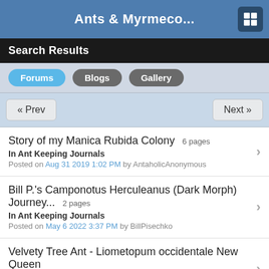Ants & Myrmeco...
Search Results
Forums | Blogs | Gallery
« Prev   Next »
Story of my Manica Rubida Colony  6 pages
In Ant Keeping Journals
Posted on Aug 31 2019 1:02 PM by AntaholicAnonymous
Bill P.'s Camponotus Herculeanus (Dark Morph) Journey...  2 pages
In Ant Keeping Journals
Posted on May 6 2022 3:37 PM by BillPisechko
Velvety Tree Ant - Liometopum occidentale New Queen
In Ant Keeping Journals
Posted on Aug 4 2021 12:36 PM by Kaelwizard
M. mexicanus
In General Ant Keeping